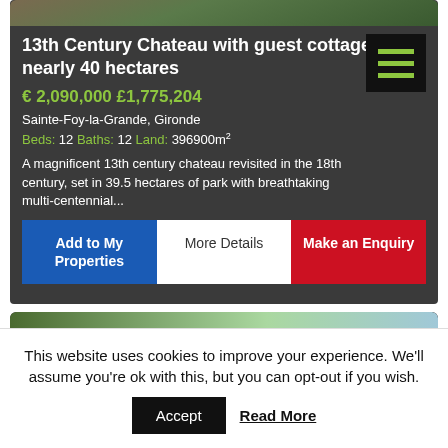[Figure (photo): Top portion of a property listing image showing greenery/chateau exterior]
13th Century Chateau with guest cottages and nearly 40 hectares
€ 2,090,000 £1,775,204
Sainte-Foy-la-Grande, Gironde
Beds: 12 Baths: 12 Land: 396900m²
A magnificent 13th century chateau revisited in the 18th century, set in 39.5 hectares of park with breathtaking multi-centennial...
Add to My Properties | More Details | Make an Enquiry
[Figure (photo): Bottom listing card image showing trees and sky]
This website uses cookies to improve your experience. We'll assume you're ok with this, but you can opt-out if you wish.
Accept  Read More